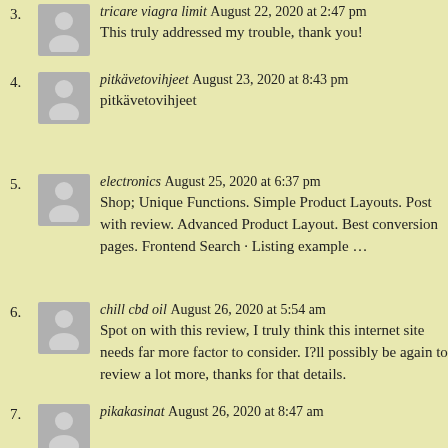3. tricare viagra limit August 22, 2020 at 2:47 pm
This truly addressed my trouble, thank you!
4. pitkävetovihjeet August 23, 2020 at 8:43 pm
pitkävetovihjeet
5. electronics August 25, 2020 at 6:37 pm
Shop; Unique Functions. Simple Product Layouts. Post with review. Advanced Product Layout. Best conversion pages. Frontend Search · Listing example …
6. chill cbd oil August 26, 2020 at 5:54 am
Spot on with this review, I truly think this internet site needs far more factor to consider. I?ll possibly be again to review a lot more, thanks for that details.
7. pikakasinat August 26, 2020 at 8:47 am